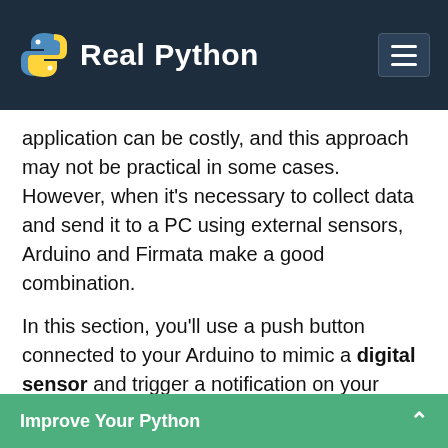Real Python
application can be costly, and this approach may not be practical in some cases. However, when it's necessary to collect data and send it to a PC using external sensors, Arduino and Firmata make a good combination.
In this section, you'll use a push button connected to your Arduino to mimic a digital sensor and trigger a notification on your machine. For a more practical application, you can think of the push button as a door sensor that will trigger an alarm notification, for example.
To display the notification on the PC, you're going to
Improve Your Python